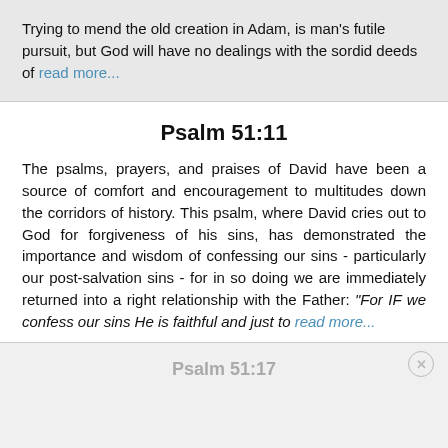Trying to mend the old creation in Adam, is man's futile pursuit, but God will have no dealings with the sordid deeds of read more...
Psalm 51:11
The psalms, prayers, and praises of David have been a source of comfort and encouragement to multitudes down the corridors of history. This psalm, where David cries out to God for forgiveness of his sins, has demonstrated the importance and wisdom of confessing our sins - particularly our post-salvation sins - for in so doing we are immediately returned into a right relationship with the Father: "For IF we confess our sins He is faithful and just to read more...
Psalm 51:17